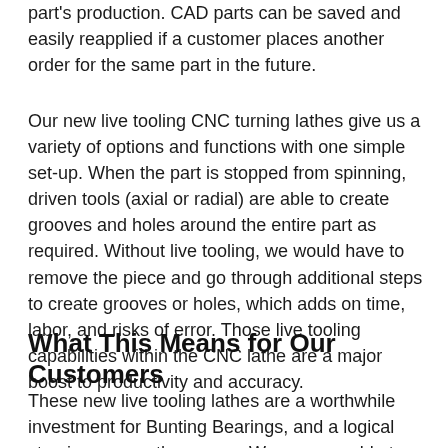part's production. CAD parts can be saved and easily reapplied if a customer places another order for the same part in the future.
Our new live tooling CNC turning lathes give us a variety of options and functions with one simple set-up. When the part is stopped from spinning, driven tools (axial or radial) are able to create grooves and holes around the entire part as required. Without live tooling, we would have to remove the piece and go through additional steps to create grooves or holes, which adds on time, labor, and risks of error. Those live tooling capabilities within the CNC lathe are a major boost to productivity and accuracy.
What This Means for Our Customers
These new live tooling lathes are a worthwhile investment for Bunting Bearings, and a logical step in our growth process. We are now able to offer competitive pricing while producing parts